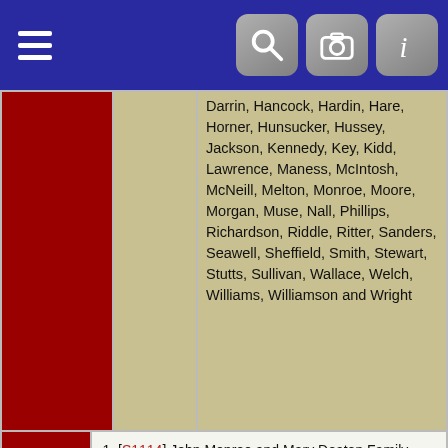Navigation bar with hamburger menu and icons
|  |  | Surnames |
| --- | --- | --- |
|  |  | Darrin, Hancock, Hardin, Hare, Horner, Hunsucker, Hussey, Jackson, Kennedy, Key, Kidd, Lawrence, Maness, McIntosh, McNeill, Melton, Monroe, Moore, Morgan, Muse, Nall, Phillips, Richardson, Riddle, Ritter, Sanders, Seawell, Sheffield, Smith, Stewart, Stutts, Sullivan, Wallace, Welch, Williams, Williamson and Wright |
| Sources | References |
| --- | --- |
| Sources | 1. [S1114] John Monroe and Mary Deaton Family Papers, http://www.monroegen.org/family.htm#The%20Bible% |
Switch to standard site
This site powered by The Next Generation of Genealogy Sitebuilding v. 13.1.1, written by Darrin Lythgoe © 2001-2022. Maintained by Morgan Jackson. Created and maintained by Morgan Jackson